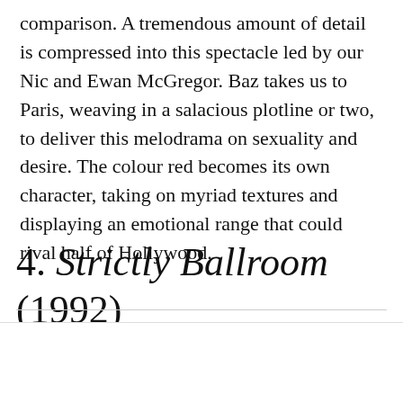comparison. A tremendous amount of detail is compressed into this spectacle led by our Nic and Ewan McGregor. Baz takes us to Paris, weaving in a salacious plotline or two, to deliver this melodrama on sexuality and desire. The colour red becomes its own character, taking on myriad textures and displaying an emotional range that could rival half of Hollywood.
4. Strictly Ballroom (1992)
JOIN THE RUSSH CLUB
Enter your details below to receive 30% off Amber Sceats jewellery.